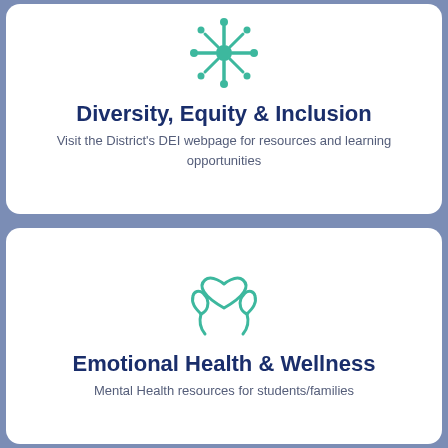[Figure (illustration): Teal decorative snowflake/community people icon for Diversity, Equity & Inclusion]
Diversity, Equity & Inclusion
Visit the District's DEI webpage for resources and learning opportunities
[Figure (illustration): Teal hands holding a heart icon for Emotional Health & Wellness]
Emotional Health & Wellness
Mental Health resources for students/families